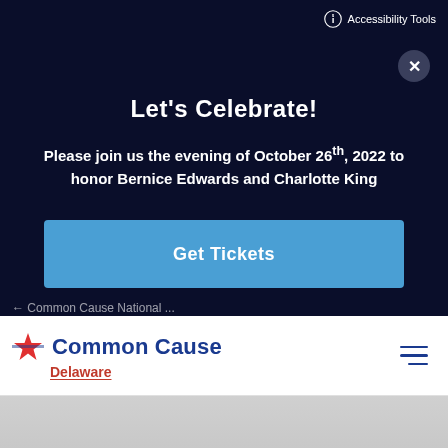Accessibility Tools
Let's Celebrate!
Please join us the evening of October 26th, 2022 to honor Bernice Edwards and Charlotte King
[Figure (other): Blue button labeled 'Get Tickets']
[Figure (logo): Common Cause Delaware logo with star icon and red underline below Delaware text]